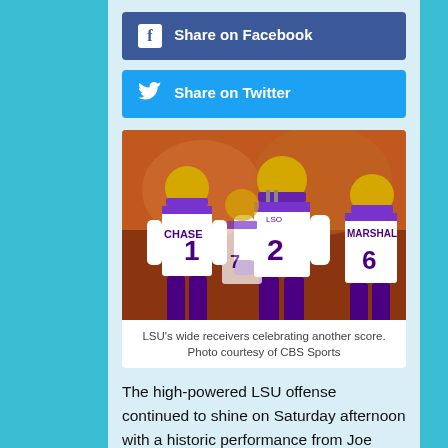Share on Facebook
Share on Twitter
[Figure (photo): LSU wide receivers in white and purple uniforms celebrating on the field. Player #1 CHASE and player #2 visible, along with player #6 MARSHAL in the background.]
LSU's wide receivers celebrating another score. Photo courtesy of CBS Sports
The high-powered LSU offense continued to shine on Saturday afternoon with a historic performance from Joe Burrow leading the way to a dominant 66-38 victory over Vanderbilt.